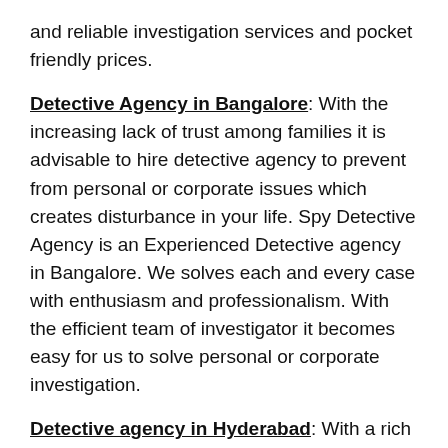and reliable investigation services and pocket friendly prices.
Detective Agency in Bangalore: With the increasing lack of trust among families it is advisable to hire detective agency to prevent from personal or corporate issues which creates disturbance in your life. Spy Detective Agency is an Experienced Detective agency in Bangalore. We solves each and every case with enthusiasm and professionalism. With the efficient team of investigator it becomes easy for us to solve personal or corporate investigation.
Detective agency in Hyderabad: With a rich experience of more than 15 Years in the Investigation field, we have solved various investigation cases with efficiency with enough evidence. Spy Detective Agency is the best-known detective agency in Hyderabad with a